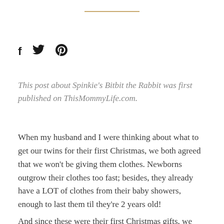[Figure (other): Horizontal gold/tan decorative divider line]
[Figure (other): Social media icons: Facebook (f), Twitter (bird), Pinterest (P)]
This post about Spinkie's Bitbit the Rabbit was first published on ThisMommyLife.com.
When my husband and I were thinking about what to get our twins for their first Christmas, we both agreed that we won't be giving them clothes. Newborns outgrow their clothes too fast; besides, they already have a LOT of clothes from their baby showers, enough to last them til they're 2 years old!
And since these were their first Christmas gifts, we